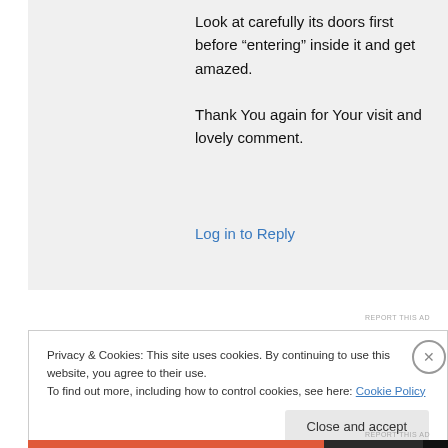Look at carefully its doors first before “entering” inside it and get amazed.

Thank You again for Your visit and lovely comment.
Log in to Reply
REPORT THIS AD
Privacy & Cookies: This site uses cookies. By continuing to use this website, you agree to their use.
To find out more, including how to control cookies, see here: Cookie Policy
Close and accept
REPORT THIS AD